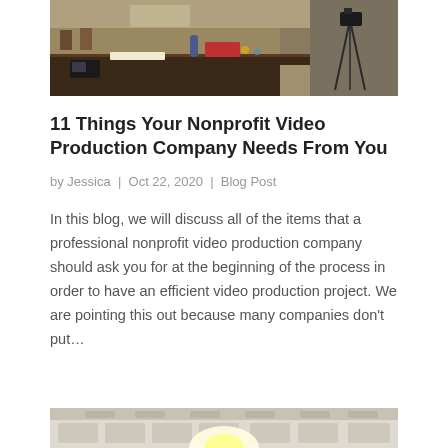[Figure (photo): Photo of a classroom/studio setup with desks, a camera on a tripod, books, bottles, and other equipment on a dark table. Wooden floor and chairs visible in the background.]
11 Things Your Nonprofit Video Production Company Needs From You
by Jessica | Oct 22, 2020 | Blog Post
In this blog, we will discuss all of the items that a professional nonprofit video production company should ask you for at the beginning of the process in order to have an efficient video production project. We are pointing this out because many companies don't put…
[Figure (photo): Photo of a room interior with white walls, ceiling with recessed lights, and what appears to be a bright light or doorway visible at the bottom.]